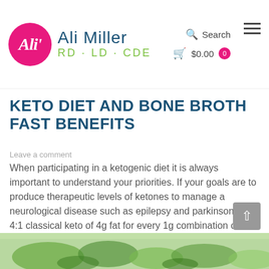Ali Miller RD · LD · CDE — Search · $0.00
KETO DIET AND BONE BROTH FAST BENEFITS
Leave a comment
When participating in a ketogenic diet it is always important to understand your priorities. If your goals are to produce therapeutic levels of ketones to manage a neurological disease such as epilepsy and parkinsons, a 4:1 classical keto of 4g fat for every 1g combination of protein and carbs. This type of ketogenic approach relies…
Details ▶
[Figure (photo): Bottom strip showing a food/salad photo with green vegetables]